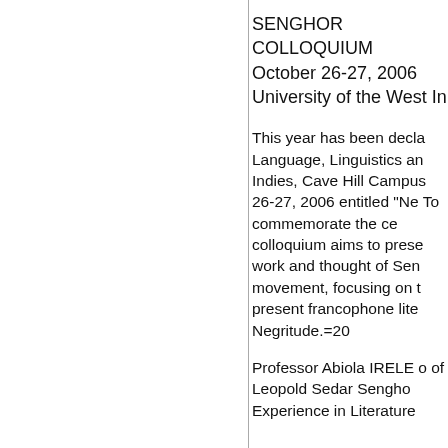SENGHOR COLLOQUIUM October 26-27, 2006 University of the West In
This year has been decla Language, Linguistics an Indies, Cave Hill Campus 26-27, 2006 entitled "Ne To commemorate the ce colloquium aims to prese work and thought of Sen movement, focusing on t present francophone lite Negritude.=20
Professor Abiola IRELE o of Leopold Sedar Sengho Experience in Literature